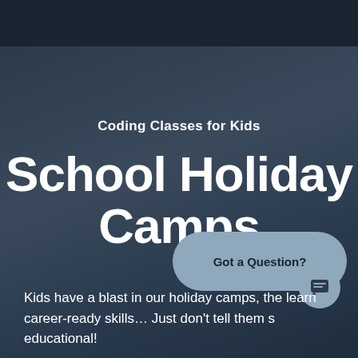Coding Classes for Kids
School Holiday Camps
Kids have a blast in our holiday camps, the learn career-ready skills… Just don't tell them s educational!